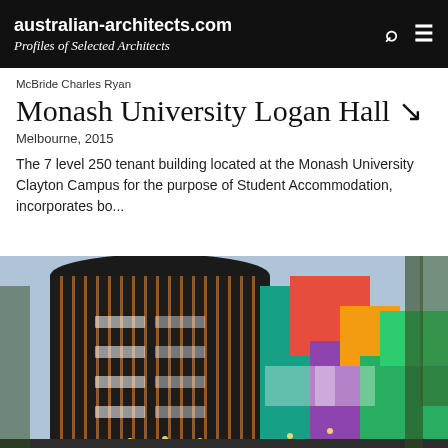australian-architects.com
Profiles of Selected Architects
McBride Charles Ryan
Monash University Logan Hall ↘
Melbourne, 2015
The 7 level 250 tenant building located at the Monash University Clayton Campus for the purpose of Student Accommodation, incorporates bo...
[Figure (photo): Exterior photograph of Monash University Logan Hall showing a curved dark-clad cylindrical building alongside colorful angular structures with green, pink, teal, and orange cladding panels, taken at dusk.]